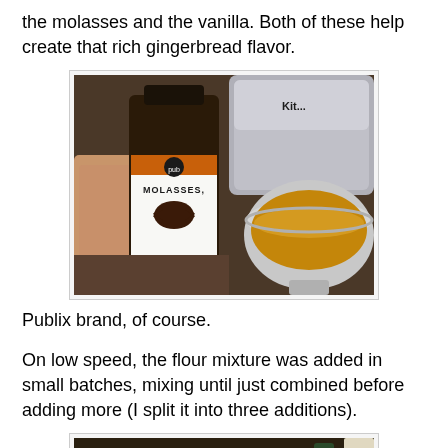the molasses and the vanilla. Both of these help create that rich gingerbread flavor.
[Figure (photo): Photo of a hand holding a bottle of Publix brand Molasses next to a KitchenAid stand mixer bowl with dough]
Publix brand, of course.
On low speed, the flour mixture was added in small batches, mixing until just combined before adding more (I split it into three additions).
[Figure (photo): Partial photo showing mixing process with flour addition]